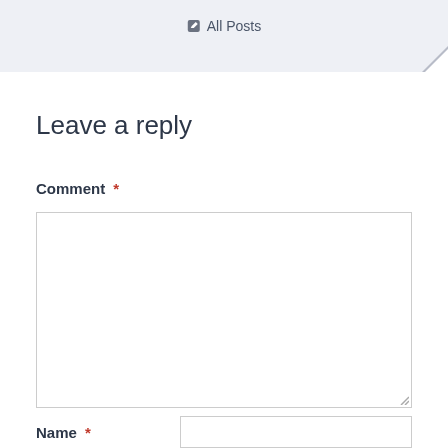[Figure (screenshot): Top navigation bar with 'All Posts' link and a pencil/edit icon, light blue-grey background with a folded corner decoration at top-right]
Leave a reply
Comment *
[Figure (screenshot): Empty comment textarea input box with resize handle in bottom-right corner]
Name *
[Figure (screenshot): Partial name text input field visible at bottom of page]